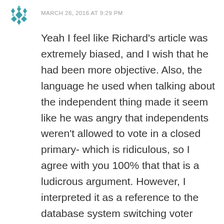[Figure (logo): Teal decorative avatar/icon with diamond and arrow pattern]
MARCH 26, 2016 AT 9:29 PM
Yeah I feel like Richard's article was extremely biased, and I wish that he had been more objective. Also, the language he used when talking about the independent thing made it seem like he was angry that independents weren't allowed to vote in a closed primary- which is ridiculous, so I agree with you 100% that that is a ludicrous argument. However, I interpreted it as a reference to the database system switching voter affiliation though, which has been widely reported.